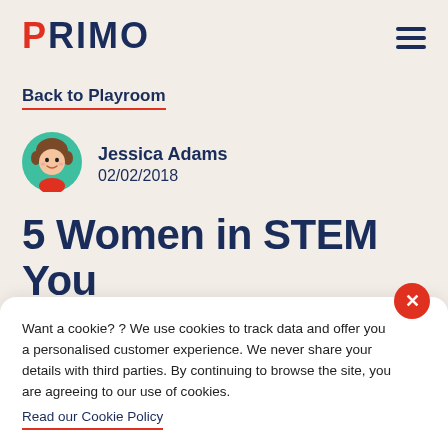PRIMO
Back to Playroom
[Figure (illustration): Circular avatar illustration of a girl with brown hair, on a teal/green circular background]
Jessica Adams
02/02/2018
5 Women in STEM You
Want a cookie? ? We use cookies to track data and offer you a personalised customer experience. We never share your details with third parties. By continuing to browse the site, you are agreeing to our use of cookies.
Read our Cookie Policy